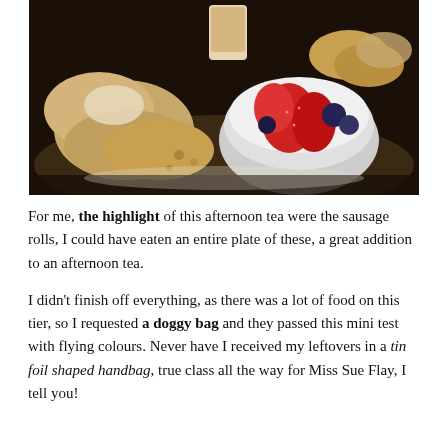[Figure (photo): Overhead photo of afternoon tea spread on a tray: scones/biscuits, a white bowl with strawberries and blueberries, other baked items, and a cup in the background. Dark, warm-toned lighting.]
For me, the highlight of this afternoon tea were the sausage rolls, I could have eaten an entire plate of these, a great addition to an afternoon tea.
I didn't finish off everything, as there was a lot of food on this tier, so I requested a doggy bag and they passed this mini test with flying colours. Never have I received my leftovers in a tin foil shaped handbag, true class all the way for Miss Sue Flay, I tell you!